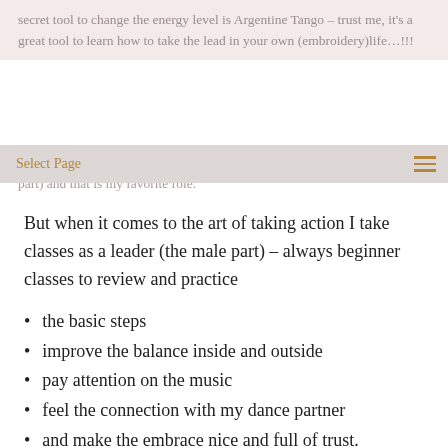secret tool to change the energy level is Argentine Tango – trust me, it's a great tool to learn how to take the lead in your own (embroidery)life…!!!
Select Page
I have been a social dancer for several years as follower (the female part) and that is my favorite role.
But when it comes to the art of taking action I take classes as a leader (the male part) – always beginner classes to review and practice
the basic steps
improve the balance inside and outside
pay attention on the music
feel the connection with my dance partner
and make the embrace nice and full of trust.
Just with a handful of basic steps I can improvise and create a dance, it can be a soft slow tango or a funny